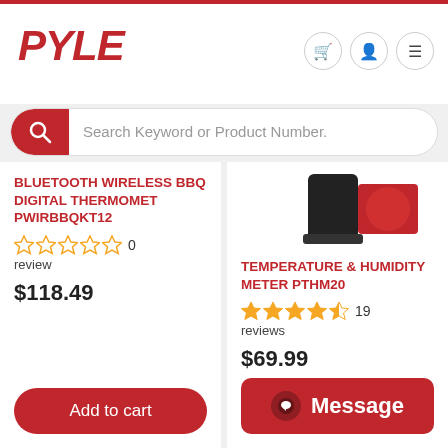[Figure (logo): Pyle logo in red italic bold text]
Search Keyword or Product Number.
BLUETOOTH WIRELESS BBQ DIGITAL THERMOMET PWIRBBQKT12
0 review
$118.49
Add to cart
[Figure (photo): Partial product photo of Temperature & Humidity Meter showing device with red elements]
TEMPERATURE & HUMIDITY METER PTHM20
19 reviews
$69.99
Message